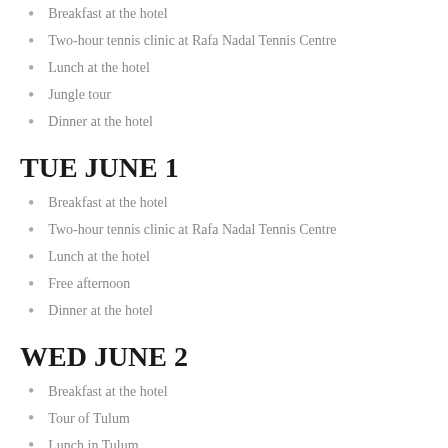Breakfast at the hotel
Two-hour tennis clinic at Rafa Nadal Tennis Centre
Lunch at the hotel
Jungle tour
Dinner at the hotel
TUE JUNE 1
Breakfast at the hotel
Two-hour tennis clinic at Rafa Nadal Tennis Centre
Lunch at the hotel
Free afternoon
Dinner at the hotel
WED JUNE 2
Breakfast at the hotel
Tour of Tulum
Lunch in Tulum
Dinner at the hotel